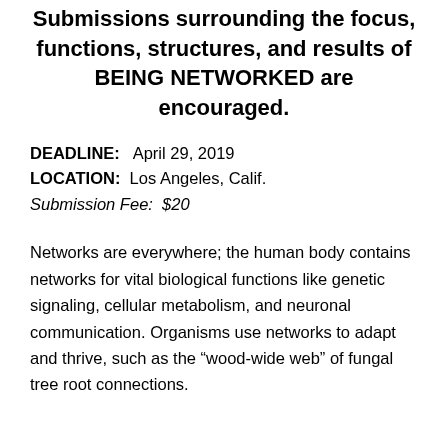Submissions surrounding the focus, functions, structures, and results of BEING NETWORKED are encouraged.
DEADLINE:  April 29, 2019
LOCATION:  Los Angeles, Calif.
Submission Fee:  $20
Networks are everywhere; the human body contains networks for vital biological functions like genetic signaling, cellular metabolism, and neuronal communication. Organisms use networks to adapt and thrive, such as the “wood-wide web” of fungal tree root connections.